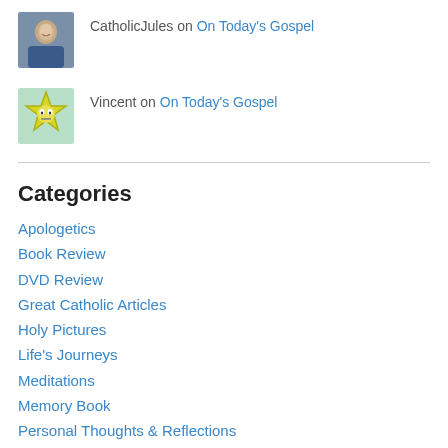CatholicJules on On Today's Gospel
Vincent on On Today's Gospel
Categories
Apologetics
Book Review
DVD Review
Great Catholic Articles
Holy Pictures
Life's Journeys
Meditations
Memory Book
Personal Thoughts & Reflections
Photos
Prayers